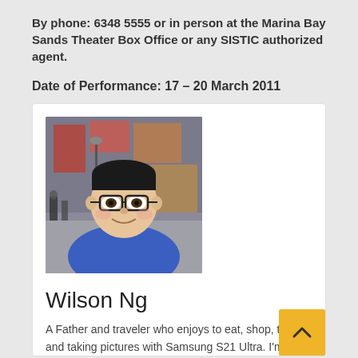By phone: 6348 5555 or in person at the Marina Bay Sands Theater Box Office or any SISTIC authorized agent.
Date of Performance: 17 – 20 March 2011
[Figure (photo): Photo of Wilson Ng, an Asian man wearing glasses and a blue jacket, taken in a busy street with colorful signs in the background.]
Wilson Ng
A Father and traveler who enjoys to eat, shop, travel and taking pictures with Samsung S21 Ultra. I'm a full